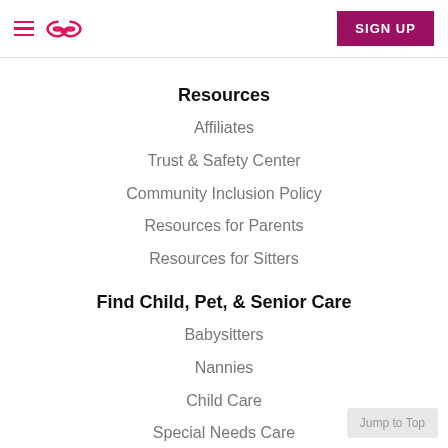Navigation header with hamburger menu, infinity logo, and SIGN UP button
Resources
Affiliates
Trust & Safety Center
Community Inclusion Policy
Resources for Parents
Resources for Sitters
Find Child, Pet, & Senior Care
Babysitters
Nannies
Child Care
Special Needs Care